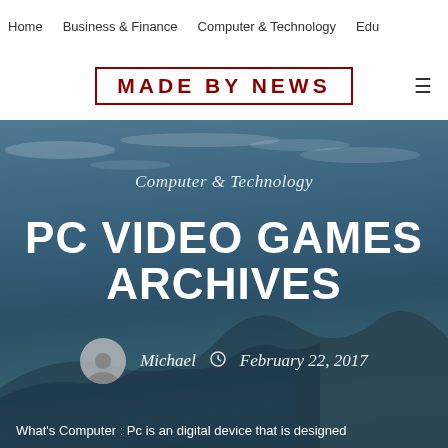Home | Business & Finance | Computer & Technology | Edu
MADE BY NEWS
[Figure (photo): Hero background image of snowy mountain landscape under a blue sky with scattered clouds, overlaid with dark blue tint]
Computer & Technology
PC VIDEO GAMES ARCHIVES
Michael  February 22, 2017
What's Computer : Pc is an digital device that is designed